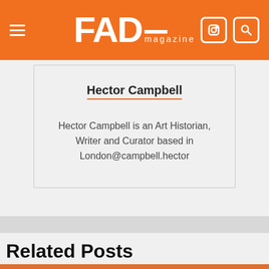FAD magazine
Hector Campbell
Hector Campbell is an Art Historian, Writer and Curator based in London@campbell.hector
Related Posts